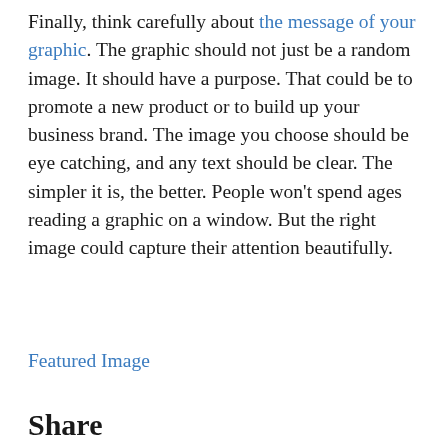Finally, think carefully about the message of your graphic. The graphic should not just be a random image. It should have a purpose. That could be to promote a new product or to build up your business brand. The image you choose should be eye catching, and any text should be clear. The simpler it is, the better. People won't spend ages reading a graphic on a window. But the right image could capture their attention beautifully.
Featured Image
Share